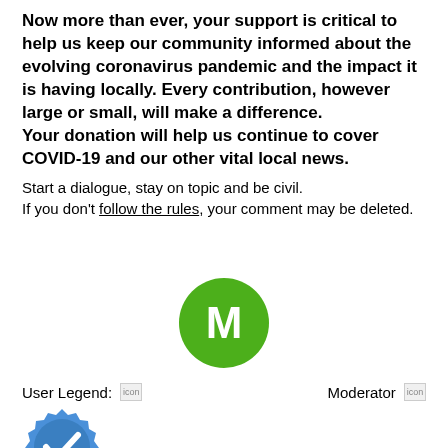Now more than ever, your support is critical to help us keep our community informed about the evolving coronavirus pandemic and the impact it is having locally. Every contribution, however large or small, will make a difference. Your donation will help us continue to cover COVID-19 and our other vital local news.
Start a dialogue, stay on topic and be civil.
If you don't follow the rules, your comment may be deleted.
[Figure (illustration): Green circle avatar with white letter M in the center]
User Legend: icon    Moderator icon
[Figure (illustration): Blue badge/shield with white checkmark icon]